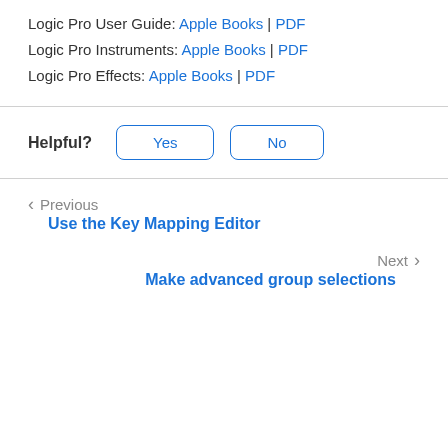Logic Pro User Guide: Apple Books | PDF
Logic Pro Instruments: Apple Books | PDF
Logic Pro Effects: Apple Books | PDF
Helpful? Yes No
Previous
Use the Key Mapping Editor
Next
Make advanced group selections